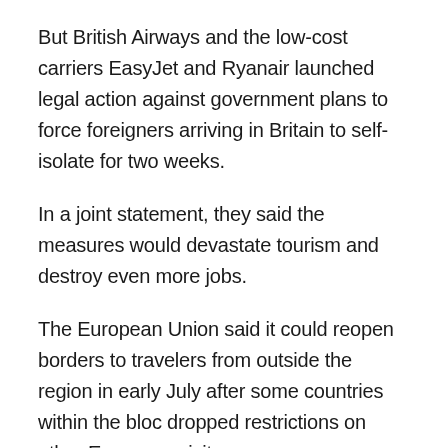But British Airways and the low-cost carriers EasyJet and Ryanair launched legal action against government plans to force foreigners arriving in Britain to self-isolate for two weeks.
In a joint statement, they said the measures would devastate tourism and destroy even more jobs.
The European Union said it could reopen borders to travelers from outside the region in early July after some countries within the bloc dropped restrictions on other European visitors.
France marked the anniversary of the 1944 D-Day landing with a fraction of the bigger…